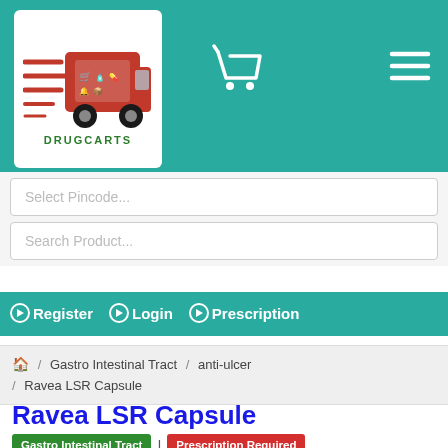[Figure (logo): DrugCarts logo: red delivery truck with shopping basket icons and DRUGCARTS text in green]
Select Pincode...
Search Product...
➜ Register  ➜ Login  ➜ Prescription
🏠 / Gastro Intestinal Tract / anti-ulcer / Ravea LSR Capsule
Ravea LSR Capsule
Gastro Intestinal Tract | Prescription Required
|  |  |
| --- | --- |
| Brand Name | Ravea LSR Capsule |
| Salt Composition | Rabeprazole (20mg) + Levosulpiride (75mg) |